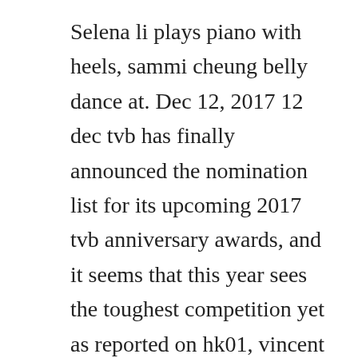Selena li plays piano with heels, sammi cheung belly dance at. Dec 12, 2017 12 dec tvb has finally announced the nomination list for its upcoming 2017 tvb anniversary awards, and it seems that this year sees the toughest competition yet as reported on hk01, vincent wong, the winner of starhub tvb awards tv king, will be competing for the best actor award with tvb star awards malaysias tv king, michael miu. You cant compete with the same names every year with other productions. Charmaine sheh just angered china and